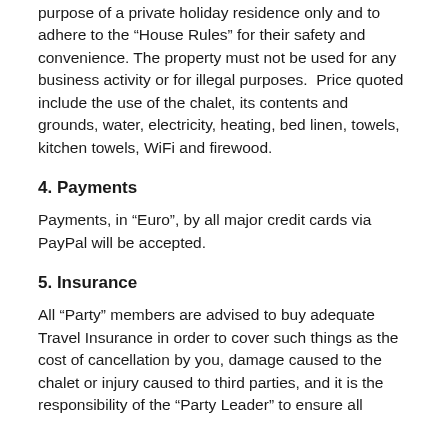purpose of a private holiday residence only and to adhere to the “House Rules” for their safety and convenience. The property must not be used for any business activity or for illegal purposes. Price quoted include the use of the chalet, its contents and grounds, water, electricity, heating, bed linen, towels, kitchen towels, WiFi and firewood.
4. Payments
Payments, in “Euro”, by all major credit cards via PayPal will be accepted.
5. Insurance
All “Party” members are advised to buy adequate Travel Insurance in order to cover such things as the cost of cancellation by you, damage caused to the chalet or injury caused to third parties, and it is the responsibility of the “Party Leader” to ensure all